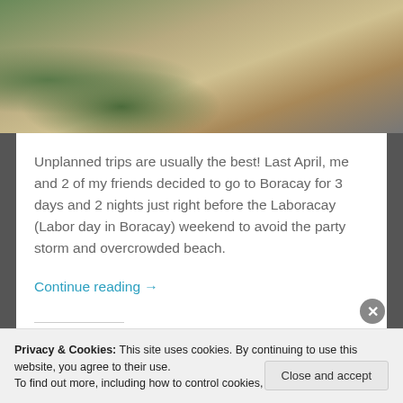[Figure (photo): Beach scene with sandy path, person on left bending down with bag, and people on right side, palm tree shadow visible on sand]
Unplanned trips are usually the best! Last April, me and 2 of my friends decided to go to Boracay for 3 days and 2 nights just right before the Laboracay (Labor day in Boracay) weekend to avoid the party storm and overcrowded beach.
Continue reading →
Rate this: ★★★★★ ℹ 1 Vote
Privacy & Cookies: This site uses cookies. By continuing to use this website, you agree to their use.
To find out more, including how to control cookies, see here: Cookie Policy
Close and accept